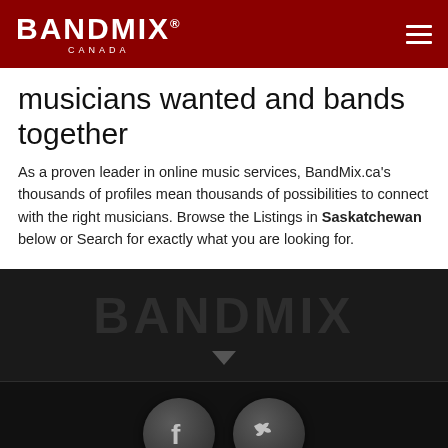BANDMIX® CANADA
musicians wanted and bands together
As a proven leader in online music services, BandMix.ca's thousands of profiles mean thousands of possibilities to connect with the right musicians. Browse the Listings in Saskatchewan below or Search for exactly what you are looking for.
[Figure (logo): BANDMIX watermark text on dark background with dropdown arrow]
[Figure (illustration): Facebook and Twitter social media icon buttons (circular, dark grey gradient)]
Copyright © 2022 BandMix.ca™. All rights reserved.